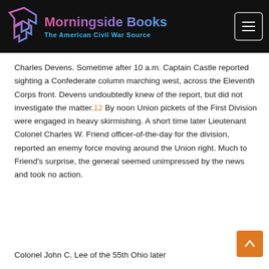Morningside Books — The American Civil War Source
Charles Devens. Sometime after 10 a.m. Captain Castle reported sighting a Confederate column marching west, across the Eleventh Corps front. Devens undoubtedly knew of the report, but did not investigate the matter.12 By noon Union pickets of the First Division were engaged in heavy skirmishing. A short time later Lieutenant Colonel Charles W. Friend officer-of-the-day for the division, reported an enemy force moving around the Union right. Much to Friend's surprise, the general seemed unimpressed by the news and took no action.
Colonel John C. Lee of the 55th Ohio later